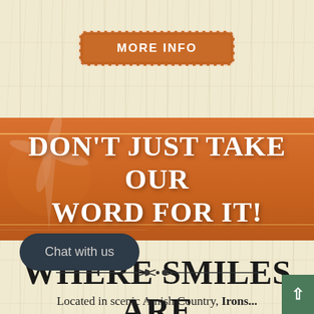MORE INFO
DON'T JUST TAKE OUR WORD FOR IT!
WHERE SMILES ARE MADE!
Chat with us
Located in scenic Amish Country, Irons...